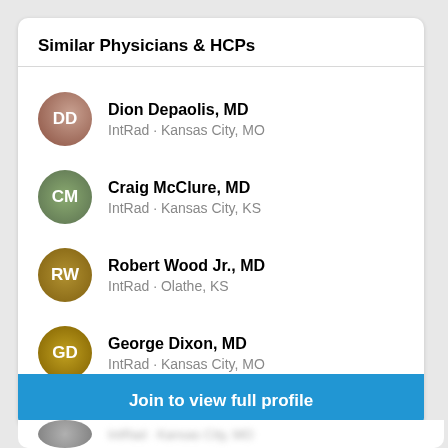Similar Physicians & HCPs
Dion Depaolis, MD
IntRad · Kansas City, MO
Craig McClure, MD
IntRad · Kansas City, KS
Robert Wood Jr., MD
IntRad · Olathe, KS
George Dixon, MD
IntRad · Kansas City, MO
Ralph Richardson, MD
IntRad · Overland Park, KS
James Seibly, MD
IntRad · Lake Lotawana, MO
Join to view full profile